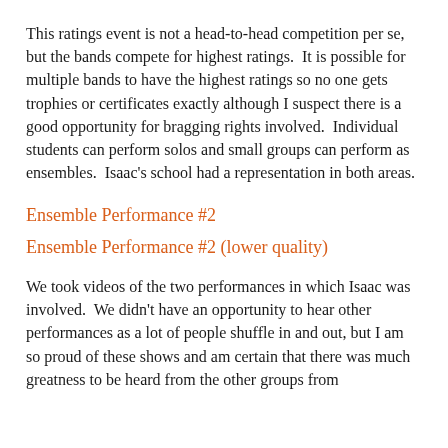This ratings event is not a head-to-head competition per se, but the bands compete for highest ratings.  It is possible for multiple bands to have the highest ratings so no one gets trophies or certificates exactly although I suspect there is a good opportunity for bragging rights involved.  Individual students can perform solos and small groups can perform as ensembles.  Isaac's school had a representation in both areas.
Ensemble Performance #2
Ensemble Performance #2 (lower quality)
We took videos of the two performances in which Isaac was involved.  We didn't have an opportunity to hear other performances as a lot of people shuffle in and out, but I am so proud of these shows and am certain that there was much greatness to be heard from the other groups from